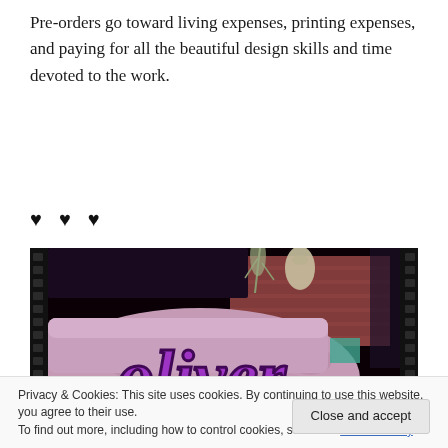Pre-orders go toward living expenses, printing expenses, and paying for all the beautiful design skills and time devoted to the work.
♥ ♥ ♥
[Figure (photo): A decorative photo showing a tufted pink/mauve sofa with the word 'oliver' written in large purple cursive script overlaid on the image, with a brick wall and plants visible in the background. The image has a film strip border effect on the left and right sides.]
Privacy & Cookies: This site uses cookies. By continuing to use this website, you agree to their use.
To find out more, including how to control cookies, see here: Cookie Policy
Close and accept